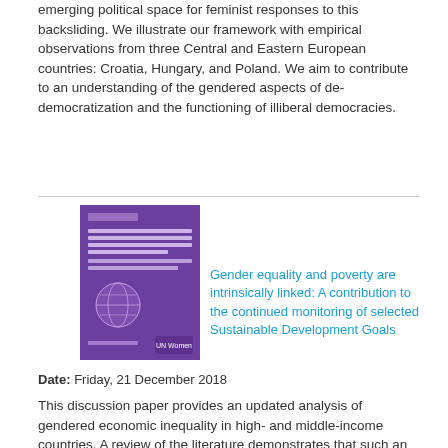emerging political space for feminist responses to this backsliding. We illustrate our framework with empirical observations from three Central and Eastern European countries: Croatia, Hungary, and Poland. We aim to contribute to an understanding of the gendered aspects of de-democratization and the functioning of illiberal democracies.
[Figure (illustration): Book cover with purple background showing text 'GENDER EQUALITY AND POVERTY ARE INTRINSICALLY LINKED' and UN Women logo at bottom right]
Gender equality and poverty are intrinsically linked: A contribution to the continued monitoring of selected Sustainable Development Goals
Date: Friday, 21 December 2018
This discussion paper provides an updated analysis of gendered economic inequality in high- and middle-income countries. A review of the literature demonstrates that such an analysis needs to explicitly recognize that gender, poverty, and (economic) inequality are intrinsically linked. It was produced for UN Women's flagship